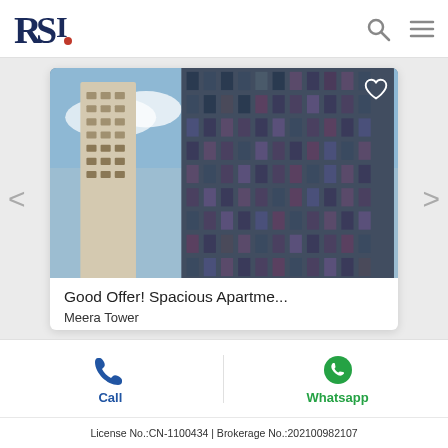[Figure (logo): RSI real estate logo with stylized letters R, S, I and a red dot]
[Figure (photo): Upward angle photo of two tall residential towers against blue sky]
Good Offer! Spacious Apartme...
Meera Tower
55,000 AED  🛏1  🛁1  🚿1  ⬛ 699
Call
Whatsapp
License No.:CN-1100434 | Brokerage No.:202100982107